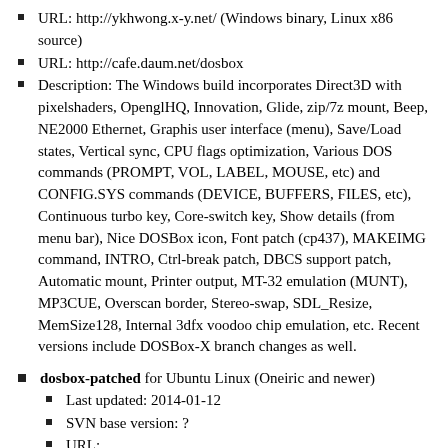URL: http://ykhwong.x-y.net/ (Windows binary, Linux x86 source)
URL: http://cafe.daum.net/dosbox
Description: The Windows build incorporates Direct3D with pixelshaders, OpenglHQ, Innovation, Glide, zip/7z mount, Beep, NE2000 Ethernet, Graphis user interface (menu), Save/Load states, Vertical sync, CPU flags optimization, Various DOS commands (PROMPT, VOL, LABEL, MOUSE, etc) and CONFIG.SYS commands (DEVICE, BUFFERS, FILES, etc), Continuous turbo key, Core-switch key, Show details (from menu bar), Nice DOSBox icon, Font patch (cp437), MAKEIMG command, INTRO, Ctrl-break patch, DBCS support patch, Automatic mount, Printer output, MT-32 emulation (MUNT), MP3CUE, Overscan border, Stereo-swap, SDL_Resize, MemSize128, Internal 3dfx voodoo chip emulation, etc. Recent versions include DOSBox-X branch changes as well.
dosbox-patched for Ubuntu Linux (Oneiric and newer)
Last updated: 2014-01-12
SVN base version: ?
URL: https://code.launchpad.net/~i30817/+archive/dosbox-patched
Description: "Daily builds of dosbox-patched with ct33...